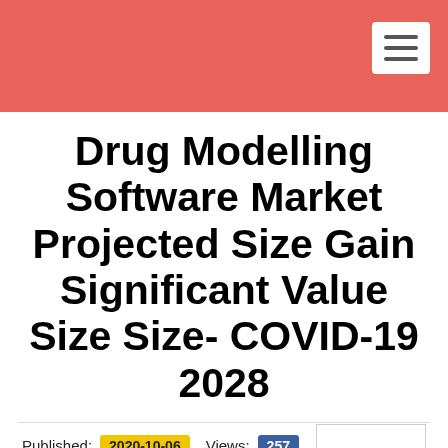Drug Modelling Software Market Projected Size Gain Significant Value Size Size- COVID-19 2028
Published: 2020-10-06  Views: 257
Author: datainsightspartner
Published in: Arts & Entertainment